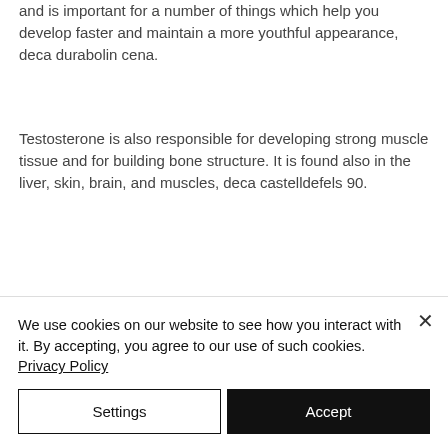and is important for a number of things which help you develop faster and maintain a more youthful appearance, deca durabolin cena.
Testosterone is also responsible for developing strong muscle tissue and for building bone structure. It is found also in the liver, skin, brain, and muscles, deca castelldefels 90.
Testosterone is used in the testosterone replacement therapy for men to achieve the goal of improving your physical appearance and to improve your sex drive. The dosage
We use cookies on our website to see how you interact with it. By accepting, you agree to our use of such cookies. Privacy Policy